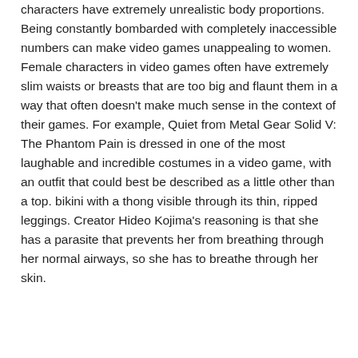characters have extremely unrealistic body proportions. Being constantly bombarded with completely inaccessible numbers can make video games unappealing to women. Female characters in video games often have extremely slim waists or breasts that are too big and flaunt them in a way that often doesn't make much sense in the context of their games. For example, Quiet from Metal Gear Solid V: The Phantom Pain is dressed in one of the most laughable and incredible costumes in a video game, with an outfit that could best be described as a little other than a top. bikini with a thong visible through its thin, ripped leggings. Creator Hideo Kojima's reasoning is that she has a parasite that prevents her from breathing through her normal airways, so she has to breathe through her skin.